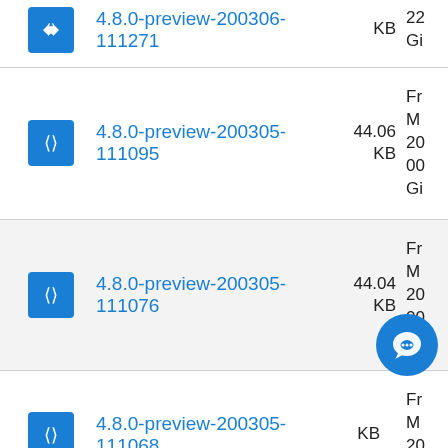4.8.0-preview-200306-111271 · KB · 22 · Gi
4.8.0-preview-200305-111095 · 44.06 KB · Fr · M · 20 · 00 · Gi
4.8.0-preview-200305-111076 · 44.04 KB · Fr · M · 20 · 00 · Gi
4.8.0-preview-200305-111068 · KB · Fr · M · 20 · 00